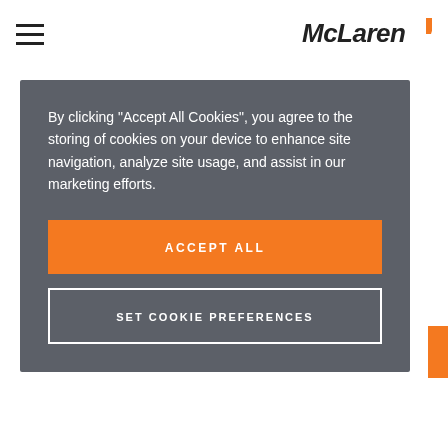[Figure (logo): McLaren logo top right, hamburger menu top left]
By clicking "Accept All Cookies", you agree to the storing of cookies on your device to enhance site navigation, analyze site usage, and assist in our marketing efforts.
ACCEPT ALL
SET COOKIE PREFERENCES
Extreme E
esports
Submit